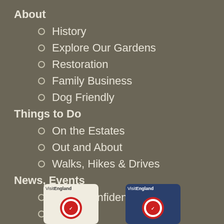About
History
Explore Our Gardens
Restoration
Family Business
Dog Friendly
Things to Do
On the Estates
Out and About
Walks, Hikes & Drives
News, Events
Covid Confident
News
Events
Contact Us
[Figure (logo): VisitEngland badge on light background with red/white circular seal]
[Figure (logo): VisitEngland badge on dark blue background with red/white circular seal]